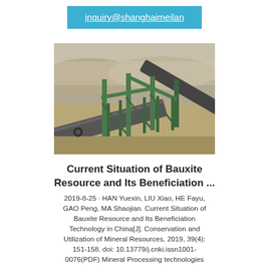inquiry@shanghaimeilan
[Figure (photo): Industrial mining conveyor belt system with green metal framework at an open-pit mine site, with sandy terrain and mountains in background]
Current Situation of Bauxite Resource and Its Beneficiation ...
2019-8-25 · HAN Yuexin, LIU Xiao, HE Fayu, GAO Peng, MA Shaojian. Current Situation of Bauxite Resource and Its Beneficiation Technology in China[J]. Conservation and Utilization of Mineral Resources, 2019, 39(4): 151-158. doi: 10.13779/j.cnki.issn1001-0076(PDF) Mineral Processing technologies